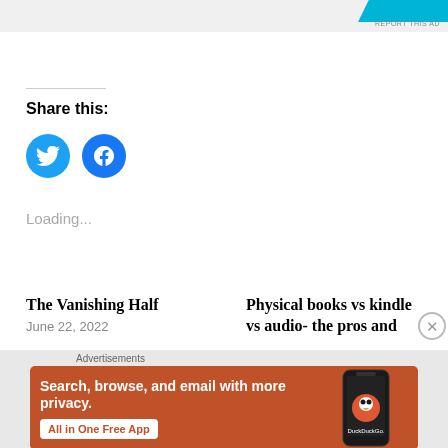[Figure (other): Top advertisement banner with cyan/blue shape and 'REPORT THIS AD' text]
Share this:
[Figure (other): Twitter and Facebook social sharing icon buttons (blue circles with bird and f logos)]
Loading...
The Vanishing Half
June 22, 2022
Physical books vs kindle vs audio- the pros and
[Figure (other): DuckDuckGo advertisement banner: orange background with phone image, text 'Search, browse, and email with more privacy. All in One Free App', DuckDuckGo logo]
Advertisements
REPORT THIS AD